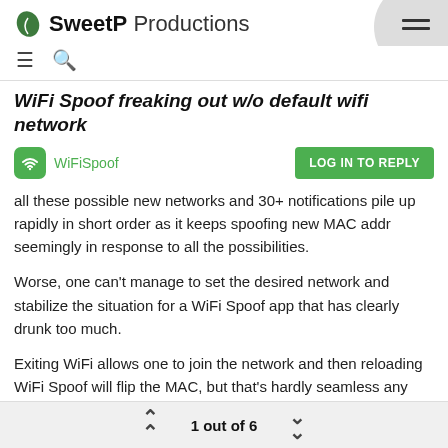SweetP Productions
WiFi Spoof freaking out w/o default wifi network
WiFiSpoof
LOG IN TO REPLY
all these possible new networks and 30+ notifications pile up rapidly in short order as it keeps spoofing new MAC addr seemingly in response to all the possibilities.
Worse, one can't manage to set the desired network and stabilize the situation for a WiFi Spoof app that has clearly drunk too much.
Exiting WiFi allows one to join the network and then reloading WiFi Spoof will flip the MAC, but that's hardly seamless any longer (thankfully, the helper app doesn't require an admin password
1 out of 6